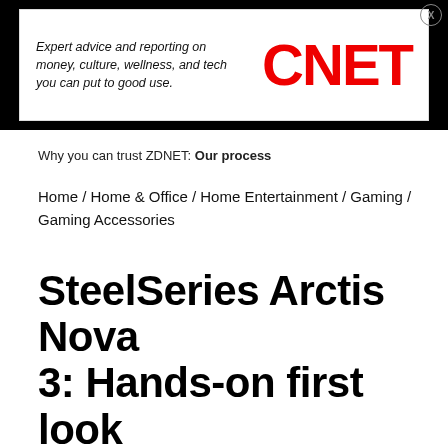[Figure (logo): CNET advertisement banner with italic tagline text 'Expert advice and reporting on money, culture, wellness, and tech you can put to good use.' and large red CNET logo on white background inside black banner]
Why you can trust ZDNET: Our process
Home / Home & Office / Home Entertainment / Gaming / Gaming Accessories
SteelSeries Arctis Nova 3: Hands-on first look